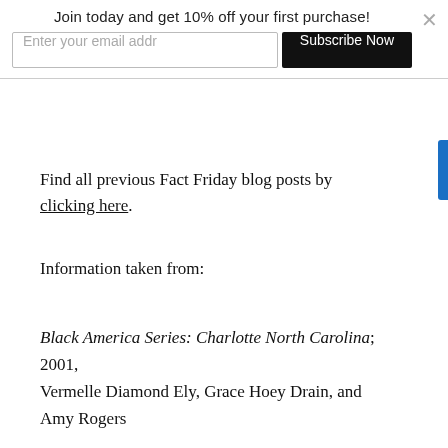Join today and get 10% off your first purchase!
Enter your email addr
Subscribe Now
Find all previous Fact Friday blog posts by clicking here.
Information taken from:
Black America Series: Charlotte North Carolina; 2001, Vermelle Diamond Ely, Grace Hoey Drain, and Amy Rogers
Wikipedia.org
CMStars.org